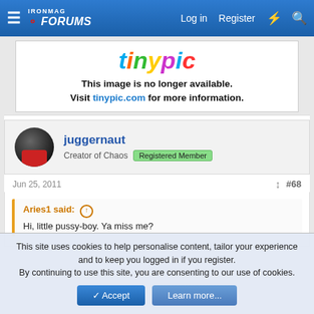IronMag Forums — Log in  Register
[Figure (screenshot): Tinypic logo with colorful lettering and message: This image is no longer available. Visit tinypic.com for more information.]
This image is no longer available. Visit tinypic.com for more information.
juggernaut
Creator of Chaos  Registered Member
Jun 25, 2011  #68
Aries1 said:
Hi, little pussy-boy. Ya miss me?
This site uses cookies to help personalise content, tailor your experience and to keep you logged in if you register.
By continuing to use this site, you are consenting to our use of cookies.